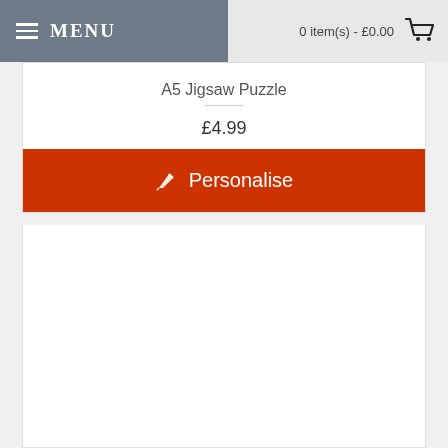MENU | 0 item(s) - £0.00
A5 Jigsaw Puzzle
£4.99
Personalise
[Figure (other): Empty white product image area]